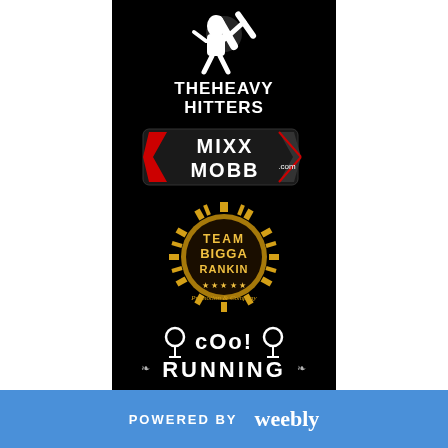[Figure (logo): THE HEAVY HITTERS logo - person swinging bat with white bold text on black background]
[Figure (logo): MIXX MOBB logo - red and white text with angular bracket design on dark background]
[Figure (logo): TEAM BIGGA RANKIN logo - gold sunburst circular badge with gold text and stars]
[Figure (logo): COOL RUNNING logo - white stylized text with microphone icons on black background]
POWERED BY weebly